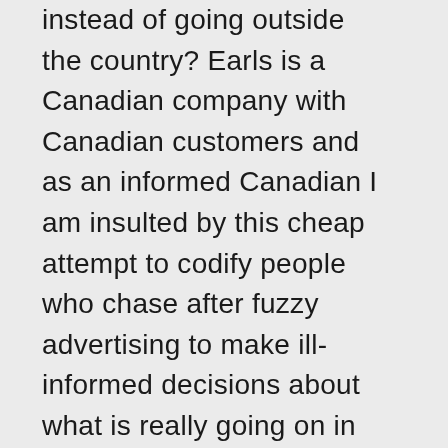instead of going outside the country? Earls is a Canadian company with Canadian customers and as an informed Canadian I am insulted by this cheap attempt to codify people who chase after fuzzy advertising to make ill-informed decisions about what is really going on in our food industry. I will take locally produced, Canadian beef over foreign foods with a PC label any day of the week. This is about beef so I won't even get into GMO here, but there are many layers of research that has not even begun to be discussed. Earls is doing the wrong thing for the wrong reasons